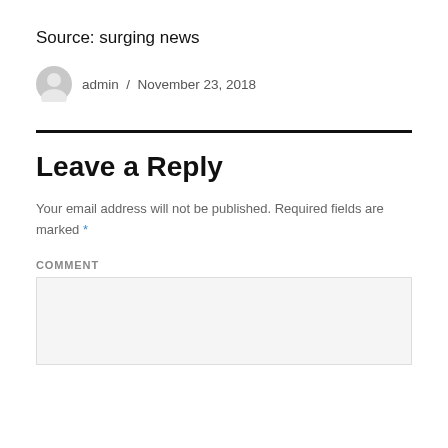Source: surging news
admin / November 23, 2018
Leave a Reply
Your email address will not be published. Required fields are marked *
COMMENT